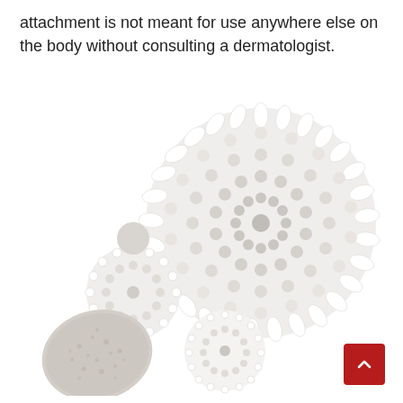attachment is not meant for use anywhere else on the body without consulting a dermatologist.
[Figure (photo): Three white circular brush attachments with silicone bristles arranged in concentric circles, one smaller brush attachment, and a beige oval pumice stone on a white background.]